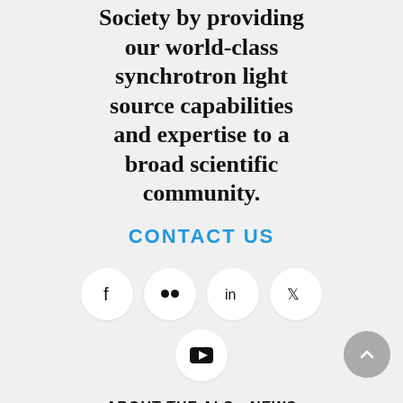Society by providing our world-class synchrotron light source capabilities and expertise to a broad scientific community.
CONTACT US
[Figure (illustration): Social media icons: Facebook, Flickr, LinkedIn, Twitter in circular white buttons; YouTube icon below]
ABOUT THE ALS   NEWS
ALSNEWS NEWSLETTER
STAFF   VISITOR INFO
JOBS & FELLOWSHIPS